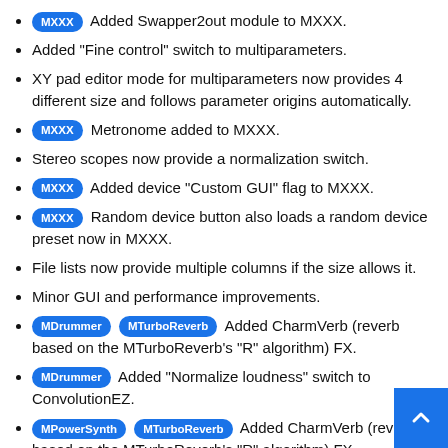MXXX Added Swapper2out module to MXXX.
Added "Fine control" switch to multiparameters.
XY pad editor mode for multiparameters now provides 4 different size and follows parameter origins automatically.
MXXX Metronome added to MXXX.
Stereo scopes now provide a normalization switch.
MXXX Added device "Custom GUI" flag to MXXX.
MXXX Random device button also loads a random device preset now in MXXX.
File lists now provide multiple columns if the size allows it.
Minor GUI and performance improvements.
MDrummer MTurboReverb Added CharmVerb (reverb based on the MTurboReverb's "R" algorithm) FX.
MDrummer Added "Normalize loudness" switch to ConvolutionEZ.
MPowerSynth MTurboReverb Added CharmVerb (reverb based on the MTurboReverb's "R" algorithm) FX.
MPowerSynth Added "Normalize loudness" switch to